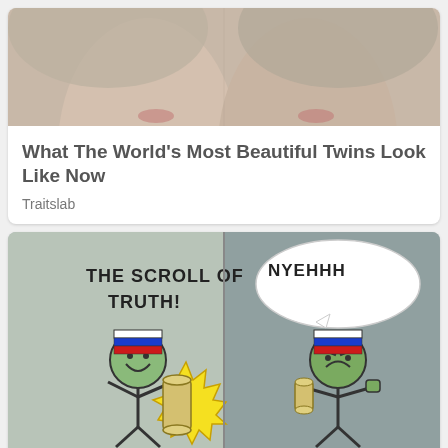[Figure (photo): Close-up photo of two young women (twins) faces, cropped at top]
What The World's Most Beautiful Twins Look Like Now
Traitslab
[Figure (illustration): Meme comic: two cartoon characters with Russian flag hats. Left character holds a scroll labeled 'THE SCROLL OF TRUTH!' with yellow starburst. Right character in speech bubble says 'NYEHHH']
The Best Ukrainian War Memes By The Ukrainian Memes Forces
Brainberries